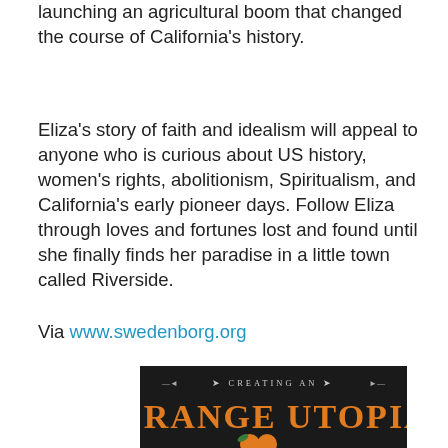launching an agricultural boom that changed the course of California's history.
Eliza's story of faith and idealism will appeal to anyone who is curious about US history, women's rights, abolitionism, Spiritualism, and California's early pioneer days. Follow Eliza through loves and fortunes lost and found until she finally finds her paradise in a little town called Riverside.
Via www.swedenborg.org
[Figure (illustration): Book cover with dark background showing 'Creating an Orange Utopia' title text in orange decorative letters with orange fruit illustration at bottom]